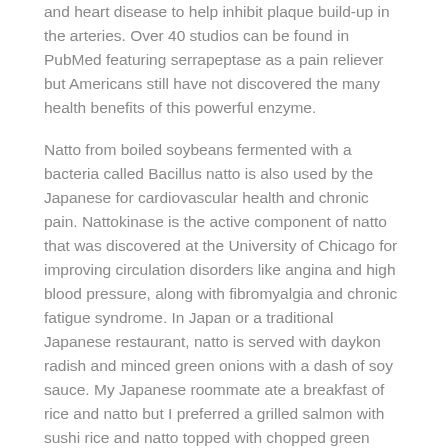and heart disease to help inhibit plaque build-up in the arteries. Over 40 studios can be found in PubMed featuring serrapeptase as a pain reliever but Americans still have not discovered the many health benefits of this powerful enzyme.
Natto from boiled soybeans fermented with a bacteria called Bacillus natto is also used by the Japanese for cardiovascular health and chronic pain. Nattokinase is the active component of natto that was discovered at the University of Chicago for improving circulation disorders like angina and high blood pressure, along with fibromyalgia and chronic fatigue syndrome. In Japan or a traditional Japanese restaurant, natto is served with daykon radish and minced green onions with a dash of soy sauce. My Japanese roommate ate a breakfast of rice and natto but I preferred a grilled salmon with sushi rice and natto topped with chopped green onions for lunch.